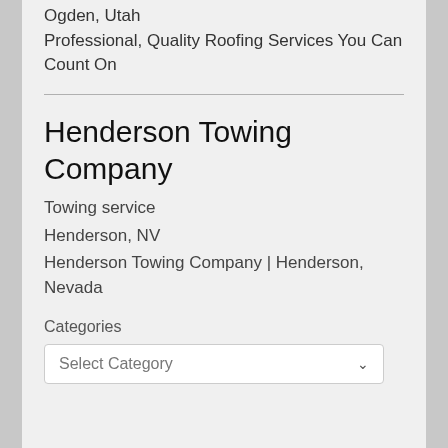Ogden, Utah
Professional, Quality Roofing Services You Can Count On
Henderson Towing Company
Towing service
Henderson, NV
Henderson Towing Company | Henderson, Nevada
Categories
Select Category